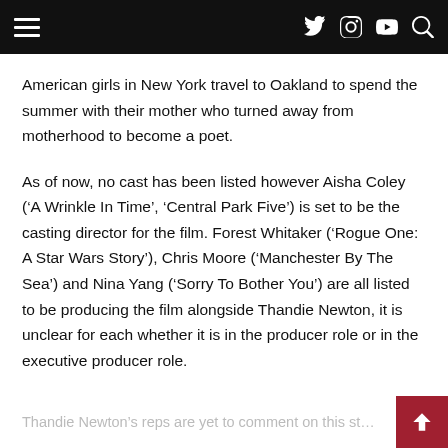[Navigation bar with hamburger menu and social icons: Twitter, Instagram, YouTube, Search]
American girls in New York travel to Oakland to spend the summer with their mother who turned away from motherhood to become a poet.
As of now, no cast has been listed however Aisha Coley (‘A Wrinkle In Time’, ‘Central Park Five’) is set to be the casting director for the film. Forest Whitaker (‘Rogue One: A Star Wars Story’), Chris Moore (‘Manchester By The Sea’) and Nina Yang (‘Sorry To Bother You’) are all listed to be producing the film alongside Thandie Newton, it is unclear for each whether it is in the producer role or in the executive producer role.
Thandie Newton’s reps are yet to comment on this st…